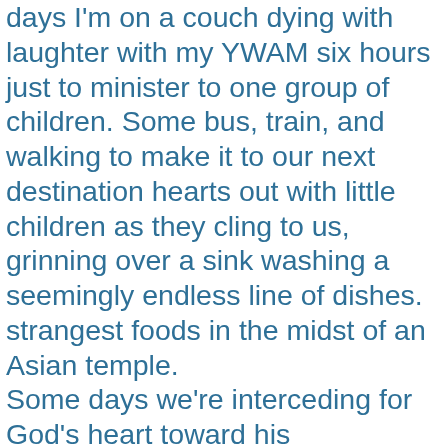days I'm on a couch dying with laughter with my YWAM six hours just to minister to one group of children. Some bus, train, and walking to make it to our next destination hearts out with little children as they cling to us, grinning over a sink washing a seemingly endless line of dishes. strangest foods in the midst of an Asian temple. Some days we're interceding for God's heart toward his circumstance, he is faithful to remind me and to show m tears in the women's eyes. He shows me in the calculate street performance. He shows me despite my ignorance impatience. He shows me along the damp, reeking stree muscles. He shows me as I stand beneath the stabbing the sad eyes of a working class man. He shows me thro man. He shows me in the timid smile of a child. He show their beauty. He shows me how he loves them. He gives It makes the sweat and tears worth it; it makes the exha worth it. Because I see them, I can see them. So